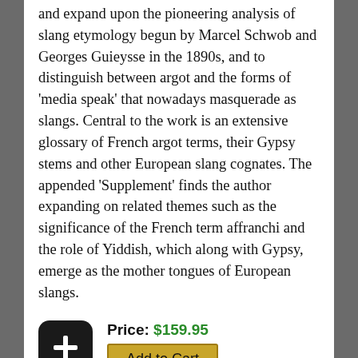and expand upon the pioneering analysis of slang etymology begun by Marcel Schwob and Georges Guieysse in the 1890s, and to distinguish between argot and the forms of 'media speak' that nowadays masquerade as slangs. Central to the work is an extensive glossary of French argot terms, their Gypsy stems and other European slang cognates. The appended 'Supplement' finds the author expanding on related themes such as the significance of the French term affranchi and the role of Yiddish, which along with Gypsy, emerge as the mother tongues of European slangs.
Price: $159.95
Add to Cart
AndrÉ Chamson, 1900-1983